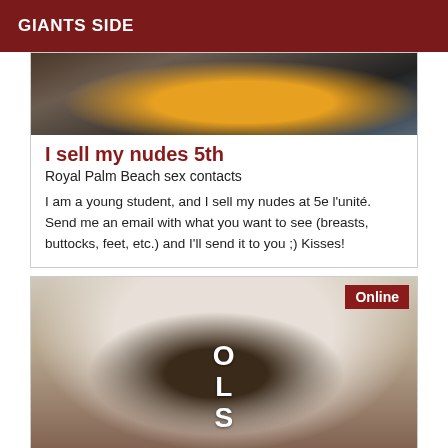GIANTS SIDE
[Figure (photo): Cropped image showing colorful fabric/textile with floral pattern and an orange/amber colored triangular shape in center, dark background]
I sell my nudes 5th
Royal Palm Beach sex contacts
I am a young student, and I sell my nudes at 5e l'unité. Send me an email with what you want to see (breasts, buttocks, feet, etc.) and I'll send it to you ;) Kisses!
[Figure (photo): Photo of a young woman with long brown hair wearing a white long-sleeve top, posing with hand raised near head, interior background with arched doorway. Online badge in top right corner.]